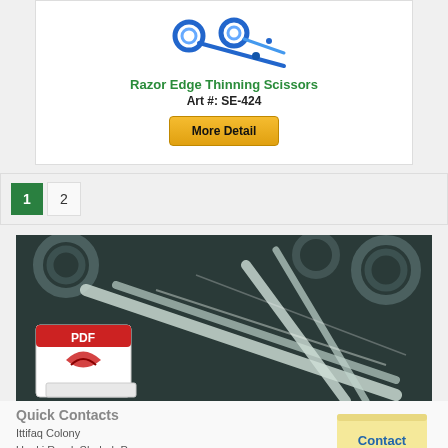[Figure (photo): Blue Razor Edge Thinning Scissors product image]
Razor Edge Thinning Scissors
Art #: SE-424
More Detail
1
2
[Figure (photo): Surgical scissors and instruments on dark background with PDF icon overlay]
Quick Contacts
Ittifaq Colony
Ugoki Road, Shahab Pura
[Figure (photo): Hand holding a sticky note that reads Contact]